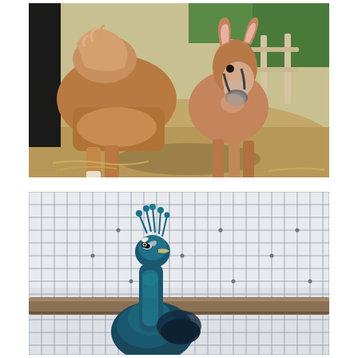[Figure (photo): A large brown horse and a smaller brown/tan donkey walking together in a dirt paddock. The horse is on the left facing slightly away, the donkey is on the right facing toward the camera with a halter on. A white wooden fence and green trees are visible in the background.]
[Figure (photo): A peacock with a dark teal/blue body and distinctive crest standing behind a wire mesh fence with a horizontal wooden rail. The background is a pale grey-white sky.]